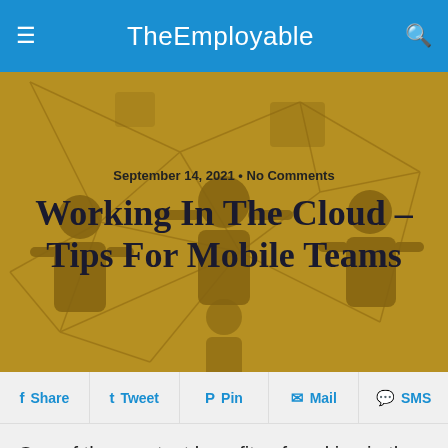TheEmployable
[Figure (illustration): Hero image with golden/amber background showing silhouetted human figures connected by a network of lines, representing teamwork and cloud connectivity.]
September 14, 2021 • No Comments
Working In The Cloud – Tips For Mobile Teams
Share  Tweet  Pin  Mail  SMS
One of the greatest benefits of working in the Cloud is that you can instantly communicate literally any type of information and the person at the other end can act on it immediately. Unfortunately, this can also be a huge disadvantage if you don't follow a few tips for working in the Cloud with mobile teams. Here are some tips...